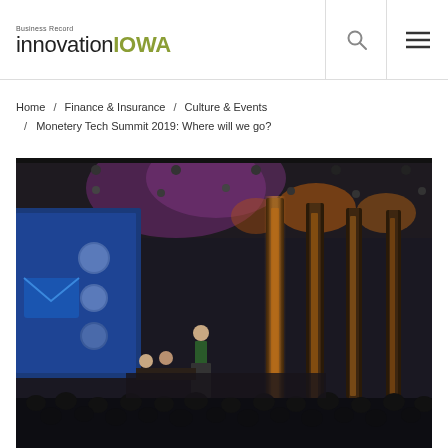Business Record innovation IOWA
Home / Finance & Insurance / Culture & Events / Monetery Tech Summit 2019: Where will we go?
[Figure (photo): Conference hall photo showing a presenter on stage at the Monetery Tech Summit 2019, with a large display screen showing speaker profiles, ornate columns and purple stage lighting in the background, and an audience in the foreground.]